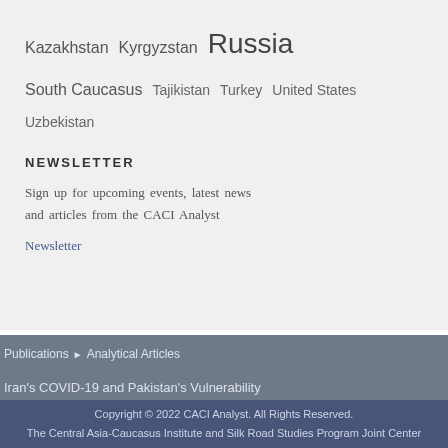Kazakhstan  Kyrgyzstan  Russia
South Caucasus  Tajikistan  Turkey  United States
Uzbekistan
NEWSLETTER
Sign up for upcoming events, latest news and articles from the CACI Analyst
Newsletter
Publications ▶ Analytical Articles
Iran's COVID-19 and Pakistan's Vulnerability
Copyright © 2022 CACI Analyst. All Rights Reserved.
The Central Asia-Caucasus Institute and Silk Road Studies Program Joint Center